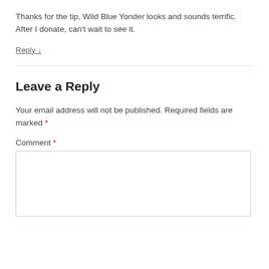Thanks for the tip, Wild Blue Yonder looks and sounds terrific. After I donate, can't wait to see it.
Reply ↓
Leave a Reply
Your email address will not be published. Required fields are marked *
Comment *